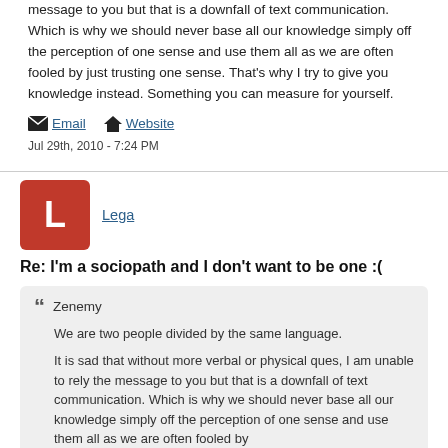message to you but that is a downfall of text communication. Which is why we should never base all our knowledge simply off the perception of one sense and use them all as we are often fooled by just trusting one sense. That's why I try to give you knowledge instead. Something you can measure for yourself.
Email   Website
Jul 29th, 2010 - 7:24 PM
Lega
Re: I'm a sociopath and I don't want to be one :(
Zenemy
We are two people divided by the same language.
It is sad that without more verbal or physical ques, I am unable to rely the message to you but that is a downfall of text communication. Which is why we should never base all our knowledge simply off the perception of one sense and use them all as we are often fooled by